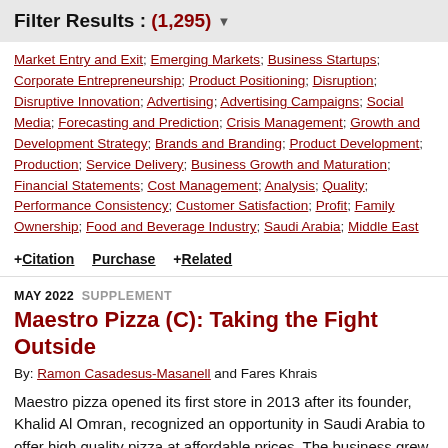Filter Results : (1,295)
Market Entry and Exit; Emerging Markets; Business Startups; Corporate Entrepreneurship; Product Positioning; Disruption; Disruptive Innovation; Advertising; Advertising Campaigns; Social Media; Forecasting and Prediction; Crisis Management; Growth and Development Strategy; Brands and Branding; Product Development; Production; Service Delivery; Business Growth and Maturation; Financial Statements; Cost Management; Analysis; Quality; Performance Consistency; Customer Satisfaction; Profit; Family Ownership; Food and Beverage Industry; Saudi Arabia; Middle East
+ Citation   Purchase   + Related
MAY 2022  SUPPLEMENT
Maestro Pizza (C): Taking the Fight Outside
By: Ramon Casadesus-Masanell and Fares Khrais
Maestro pizza opened its first store in 2013 after its founder, Khalid Al Omran, recognized an opportunity in Saudi Arabia to offer high quality pizza at affordable prices. The business grew rapidly and under the radar